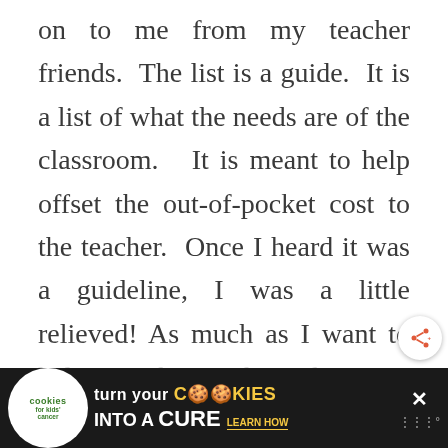on to me from my teacher friends. The list is a guide. It is a list of what the needs are of the classroom. It is meant to help offset the out-of-pocket cost to the teacher. Once I heard it was a guideline, I was a little relieved! As much as I want to help out the teachers, knowing that I don't need to have 700 boxes of crayons on the first day definitely
[Figure (other): Share button (circular white button with share icon) floating on right side]
[Figure (other): Advertisement banner at bottom: Cookies for Kids Cancer - turn your COOKIES into a CURE LEARN HOW]